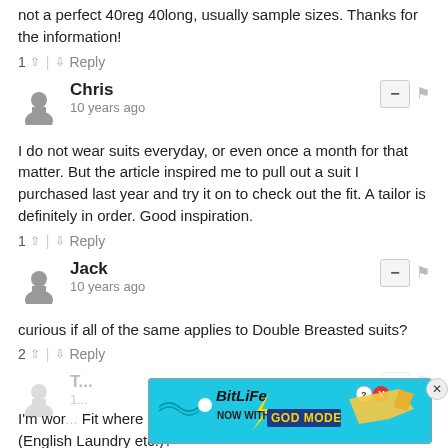not a perfect 40reg 40long, usually sample sizes. Thanks for the information!
1 ^ | v Reply
Chris
10 years ago
I do not wear suits everyday, or even once a month for that matter. But the article inspired me to pull out a suit I purchased last year and try it on to check out the fit. A tailor is definitely in order. Good inspiration.
1 ^ | v Reply
Jack
10 years ago
curious if all of the same applies to Double Breasted suits?
2 ^ | v Reply
[Figure (screenshot): BitLife advertisement banner with 'NOW WITH GOD MODE' text on a cyan/blue background with a hand pointing graphic]
I'm wor... Fit where slim-fit suit designs are concerned (English Laundry etc.)?